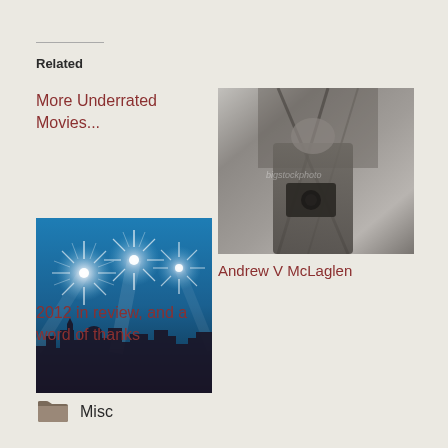Related
More Underrated Movies...
[Figure (photo): Black and white photograph showing a person with camera equipment]
Andrew V McLaglen
[Figure (photo): Colorful fireworks over a city skyline at night with teal sky]
2012 in review, and a word of thanks
Misc